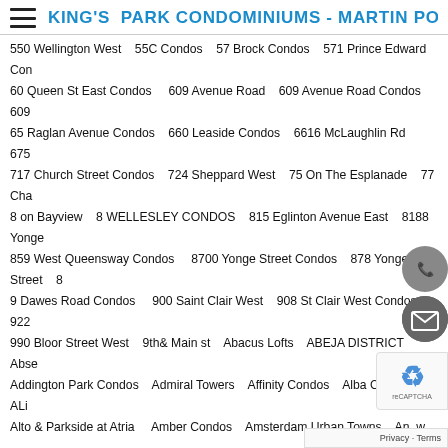KING'S PARK CONDOMINIUMS - MARTIN POON
550 Wellington West   55C Condos   57 Brock Condos   571 Prince Edward Con 60 Queen St East Condos   609 Avenue Road   609 Avenue Road Condos   609 65 Raglan Avenue Condos   660 Leaside Condos   6616 McLaughlin Rd   675 717 Church Street Condos   724 Sheppard West   75 On The Esplanade   77 Cha 8 on Bayview   8 WELLESLEY CONDOS   815 Eglinton Avenue East   8188 Yonge 859 West Queensway Condos   8700 Yonge Street Condos   878 Yonge Street   8 9 Dawes Road Condos   900 Saint Clair West   908 St Clair West Condos   922 990 Bloor Street West   9th& Main st   Abacus Lofts   ABEJA DISTRICT   Abse Addington Park Condos   Admiral Towers   Affinity Condos   Alba Condos   ALi Alto & Parkside at Atria   Amber Condos   Amsterdam Urban Towns   An w Aquavista Condos   Arc Condos   Archetto Woodbridge Towns   Argent Arte Condominiums (formerly Artform Condos 2)   Artform Condos   Arthouse os Artist's Alley Phase 2   Artlife on O'Connor Condos   Artsy Boutique Condos W AtWater Condominiums   Auberge On The Park   Auberge On The Park C Avenue & Lawrence condos   Avia   Avia 2 Condos   Avro Condominiums e Azura Condos   B.Streets   Backstage   Baker Street Residences   Bamboo on Bayview at The Village   Bayview at The Village   Bayview Village Condos   Beac Bellaria Residences Tower 4   Berkeley House Condos Toronto   Beyond The Sea Bisha   Biyu Condos   Blackstone Condos   B-Line Condos   Bloc Bloor Dufferin Condos In Toronto West   Bloor Promenade   Blue Sky Boulevard at The Thornhill   Boutik Condos   Bower Condos on The P Bridgewater Residences on the Lake   Brightwater Condos   Brimley & Progress